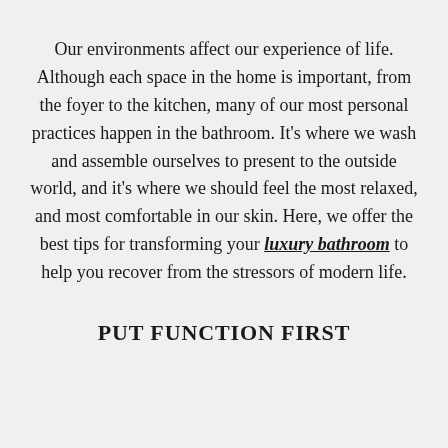Our environments affect our experience of life. Although each space in the home is important, from the foyer to the kitchen, many of our most personal practices happen in the bathroom. It's where we wash and assemble ourselves to present to the outside world, and it's where we should feel the most relaxed, and most comfortable in our skin. Here, we offer the best tips for transforming your luxury bathroom to help you recover from the stressors of modern life.
PUT FUNCTION FIRST